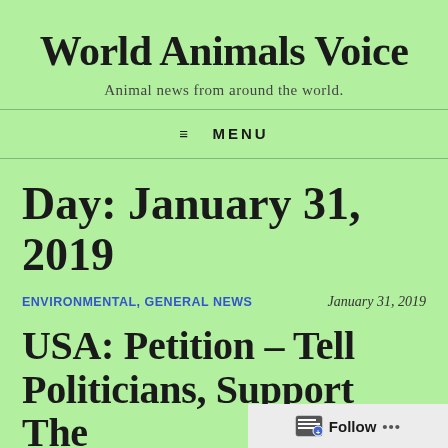World Animals Voice
Animal news from around the world.
≡ MENU
Day: January 31, 2019
ENVIRONMENTAL, GENERAL NEWS
January 31, 2019
USA: Petition – Tell Politicians, Support The